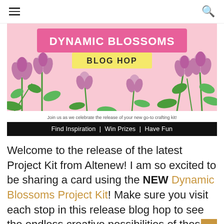≡  🔍
[Figure (illustration): Dynamic Blossoms Blog Hop banner with pink flowers and green leaves on a pink background. Large pink rectangle with white text 'DYNAMIC BLOSSOMS' and a yellow rectangle below with dark text 'BLOG HOP']
Join us as we celebrate the release of your new go-to crafting kit!
Find Inspiration | Win Prizes | Have Fun
Welcome to the release of the latest Project Kit from Altenew! I am so excited to be sharing a card using the NEW Dynamic Blossoms Project Kit! Make sure you visit each stop in this release blog hop to see the endless creative possibilities of these must-have crafting kits!